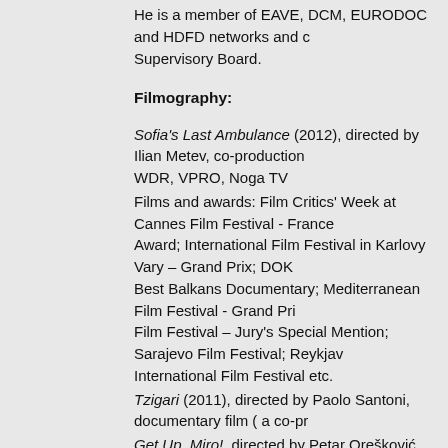He is a member of EAVE, DCM, EURODOC and HDFD networks and c… Supervisory Board.
Filmography:
Sofia's Last Ambulance (2012), directed by Ilian Metev, co-production WDR, VPRO, Noga TV
Films and awards: Film Critics' Week at Cannes Film Festival - France Award; International Film Festival in Karlovy Vary – Grand Prix; DOK Best Balkans Documentary; Mediterranean Film Festival - Grand Pri… Film Festival – Jury's Special Mention; Sarajevo Film Festival; Reykjav… International Film Festival etc.
Tzigari (2011), directed by Paolo Santoni, documentary film ( a co-pr…
Get Up, Miro!, directed by Petar Orešković, short feature film
Festivals and awards: Best Short Film in Ješke Competition at Split Mediterranean Film Festival
Cycles (2010 ), directed by Vladimir Gojun, documentary film
Festivals and awards: Best Debutant Award at the Days of Croatian f… Prix at Split Mediterranean Film Festival
Laundry (2009), directed by Nicole Volavka, short feature film
Cash and Marry (2009), directed by Atanas Georgiev, documentary f…
Festivals and awards: ZagrebDox – Audience Award and Jury's Speci… Liburnija Film festival – Audience Award and Jury's Special Mention; … Reel Nyon – New Visions Award; HotDocs Toronto, DOK Leipzig, Fla…